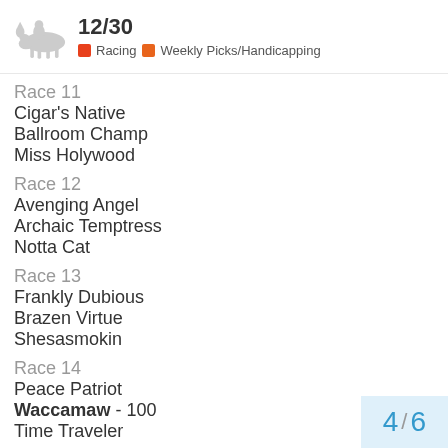12/30 Racing Weekly Picks/Handicapping
Race 11
Cigar's Native
Ballroom Champ
Miss Holywood
Race 12
Avenging Angel
Archaic Temptress
Notta Cat
Race 13
Frankly Dubious
Brazen Virtue
Shesasmokin
Race 14
Peace Patriot
Waccamaw - 100
Time Traveler
4 / 6